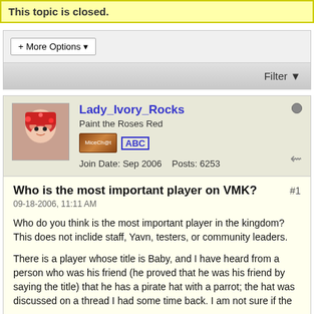This topic is closed.
+ More Options ▾
Filter ▼
Lady_Ivory_Rocks
Paint the Roses Red
Join Date: Sep 2006   Posts: 6253
Who is the most important player on VMK?
09-18-2006, 11:11 AM
Who do you think is the most important player in the kingdom? This does not inclide staff, Yavn, testers, or community leaders.
There is a player whose title is Baby, and I have heard from a person who was his friend (he proved that he was his friend by saying the title) that he has a pirate hat with a parrot; the hat was discussed on a thread I had some time back. I am not sure if the